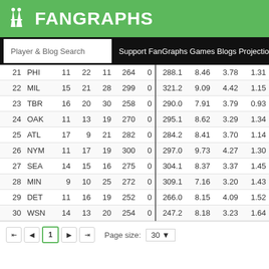FanGraphs
Player & Blog Search  Support FanGraphs Games Blogs Projectio...
| # | Team | Col3 | Col4 | Col5 | Col6 | Col7 | IP | Col9 | Col10 | Col11 |
| --- | --- | --- | --- | --- | --- | --- | --- | --- | --- | --- |
| 21 | PHI | 11 | 22 | 11 | 264 | 0 | 288.1 | 8.46 | 3.78 | 1.31 |
| 22 | MIL | 15 | 21 | 28 | 299 | 0 | 321.2 | 9.09 | 4.42 | 1.15 |
| 23 | TBR | 16 | 20 | 30 | 258 | 0 | 290.0 | 7.91 | 3.79 | 0.93 |
| 24 | OAK | 11 | 13 | 19 | 270 | 0 | 295.1 | 8.62 | 3.29 | 1.34 |
| 25 | ATL | 17 | 9 | 21 | 282 | 0 | 284.2 | 8.41 | 3.70 | 1.14 |
| 26 | NYM | 11 | 17 | 19 | 300 | 0 | 297.0 | 9.73 | 4.27 | 1.30 |
| 27 | SEA | 14 | 15 | 16 | 275 | 0 | 304.1 | 8.37 | 3.37 | 1.45 |
| 28 | MIN | 9 | 10 | 25 | 272 | 0 | 309.1 | 7.16 | 3.20 | 1.43 |
| 29 | DET | 11 | 16 | 19 | 252 | 0 | 266.0 | 8.15 | 4.09 | 1.52 |
| 30 | WSN | 14 | 13 | 20 | 254 | 0 | 247.2 | 8.18 | 3.23 | 1.64 |
Page size: 30